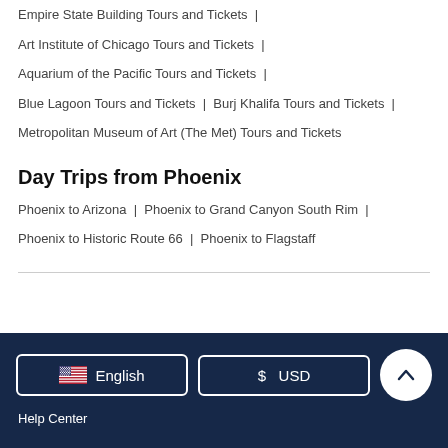Empire State Building Tours and Tickets |
Art Institute of Chicago Tours and Tickets |
Aquarium of the Pacific Tours and Tickets |
Blue Lagoon Tours and Tickets | Burj Khalifa Tours and Tickets |
Metropolitan Museum of Art (The Met) Tours and Tickets
Day Trips from Phoenix
Phoenix to Arizona | Phoenix to Grand Canyon South Rim |
Phoenix to Historic Route 66 | Phoenix to Flagstaff
English  $  USD  Help Center